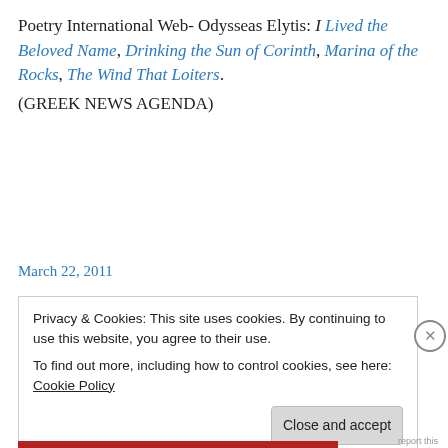Poetry International Web- Odysseas Elytis: I Lived the Beloved Name, Drinking the Sun of Corinth, Marina of the Rocks, The Wind That Loiters. (GREEK NEWS AGENDA)
March 22, 2011
Privacy & Cookies: This site uses cookies. By continuing to use this website, you agree to their use.
To find out more, including how to control cookies, see here: Cookie Policy
Close and accept